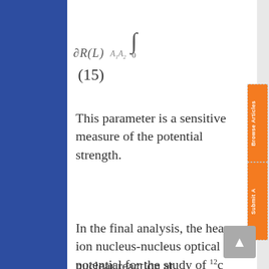This parameter is a sensitive measure of the potential strength.
In the final analysis, the heavy ion nucleus-nucleus optical potential for the study of ¹²c +¹²c nuclear reaction at
[Figure (other): Rotated orange sidebar buttons labeled 'Browse Articles' and 'Submit A']
[Figure (other): Grey back-to-top button with upward arrow]